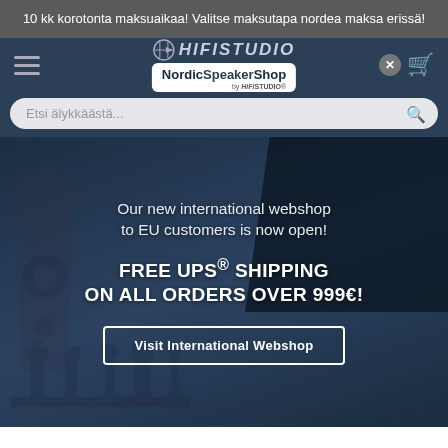10 kk korotonta maksuaikaa! Valitse maksutapa nordea maksa erissä!
[Figure (screenshot): HifiStudio / NordicSpeakerShop website navigation bar with hamburger menu, logo, close button, and cart icon]
Etsi älykkäästä...
Our new international webshop to EU customers is now open!
FREE UPS® SHIPPING ON ALL ORDERS OVER 999€!
Visit International Webshop